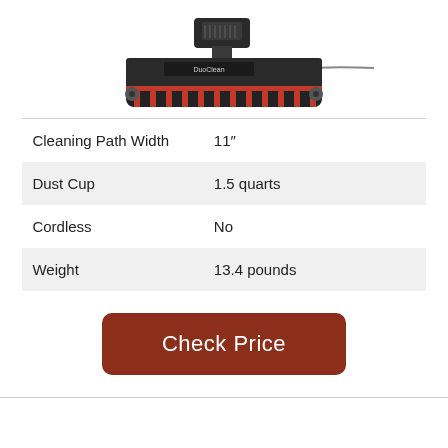[Figure (photo): Vacuum cleaner head/base unit with dual brush roll, red and black design, with a cord extending to the right, viewed from front slightly elevated angle.]
| Cleaning Path Width | 11" |
| Dust Cup | 1.5 quarts |
| Cordless | No |
| Weight | 13.4 pounds |
Check Price